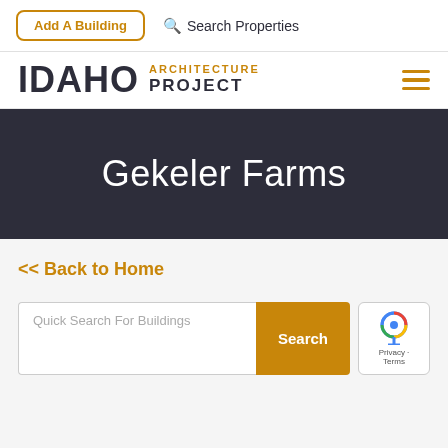Add A Building   Search Properties
[Figure (logo): Idaho Architecture Project logo with hamburger menu icon]
Gekeler Farms
<< Back to Home
Quick Search For Buildings   Search